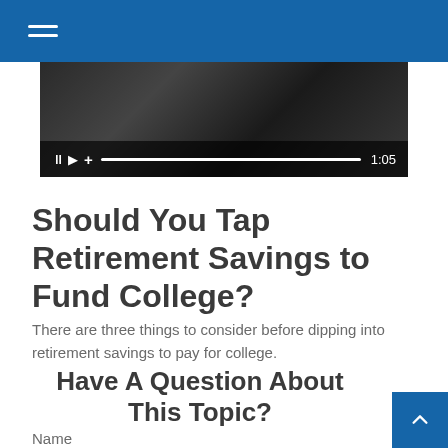[Figure (screenshot): Video player thumbnail showing a dark abstract background with video controls bar at the bottom displaying pause, play, and plus icons, a progress bar, and a time indicator showing 1:05]
Should You Tap Retirement Savings to Fund College?
There are three things to consider before dipping into retirement savings to pay for college.
Have A Question About This Topic?
Name